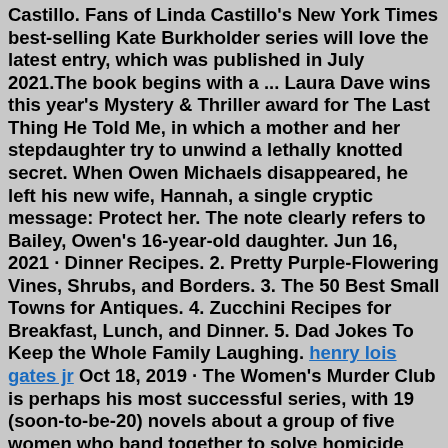Castillo. Fans of Linda Castillo's New York Times best-selling Kate Burkholder series will love the latest entry, which was published in July 2021.The book begins with a ... Laura Dave wins this year's Mystery & Thriller award for The Last Thing He Told Me, in which a mother and her stepdaughter try to unwind a lethally knotted secret. When Owen Michaels disappeared, he left his new wife, Hannah, a single cryptic message: Protect her. The note clearly refers to Bailey, Owen's 16-year-old daughter. Jun 16, 2021 · Dinner Recipes. 2. Pretty Purple-Flowering Vines, Shrubs, and Borders. 3. The 50 Best Small Towns for Antiques. 4. Zucchini Recipes for Breakfast, Lunch, and Dinner. 5. Dad Jokes To Keep the Whole Family Laughing. henry lois gates jr Oct 18, 2019 · The Women's Murder Club is perhaps his most successful series, with 19 (soon-to-be-20) novels about a group of five women who band together to solve homicide mysteries. Much like Grafton's ... Killer Shot (Stella Knox FBI Mystery Series Book 3) Mary Stone 355 Kindle Edition 1 offer from $3.99 #16 Misjudged: A